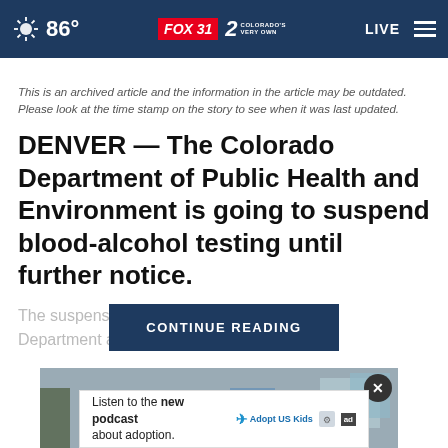86° FOX31 2 COLORADO'S VERY OWN | LIVE
This is an archived article and the information in the article may be outdated. Please look at the time stamp on the story to see when it was last updated.
DENVER — The Colorado Department of Public Health and Environment is going to suspend blood-alcohol testing until further notice.
The suspension [CONTINUE READING] alth Department a...
[Figure (photo): Photo of laboratory equipment and supplies on a table]
Listen to the new podcast about adoption.